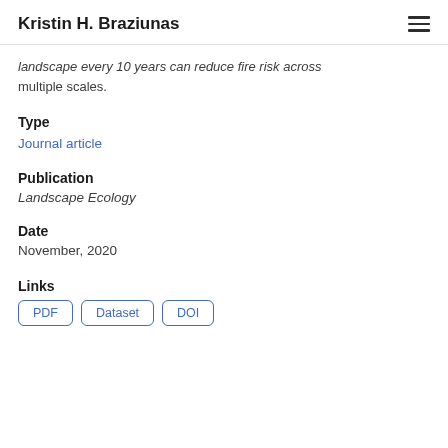Kristin H. Braziunas
landscape every 10 years can reduce fire risk across multiple scales.
Type
Journal article
Publication
Landscape Ecology
Date
November, 2020
Links
PDF
Dataset
DOI